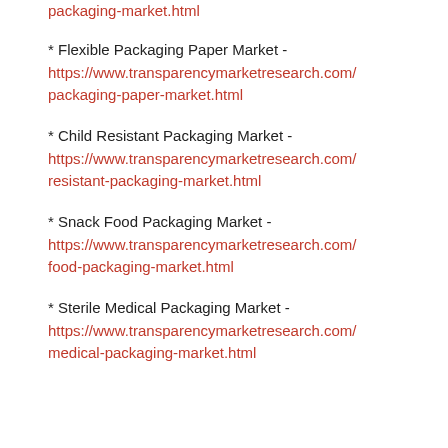* Flexible Packaging Paper Market - https://www.transparencymarketresearch.com/packaging-paper-market.html
* Child Resistant Packaging Market - https://www.transparencymarketresearch.com/resistant-packaging-market.html
* Snack Food Packaging Market - https://www.transparencymarketresearch.com/food-packaging-market.html
* Sterile Medical Packaging Market - https://www.transparencymarketresearch.com/medical-packaging-market.html